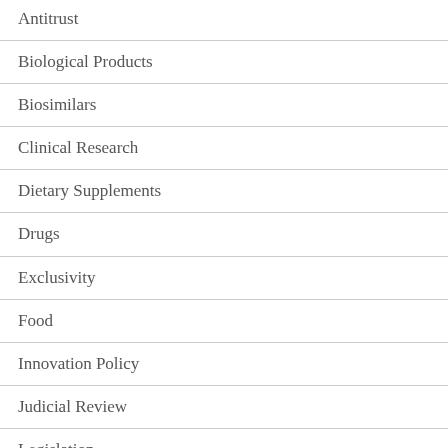Antitrust
Biological Products
Biosimilars
Clinical Research
Dietary Supplements
Drugs
Exclusivity
Food
Innovation Policy
Judicial Review
Legislation
Litigation
Medical Devices